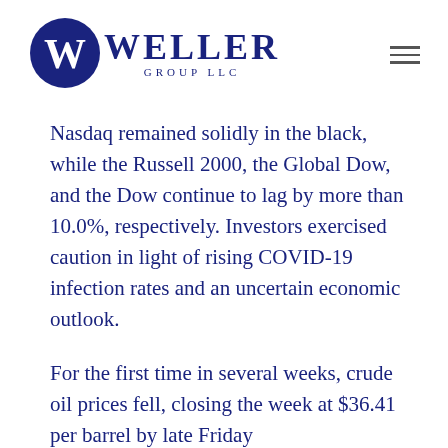[Figure (logo): Weller Group LLC logo with dark navy circle containing a W, and 'WELLER GROUP LLC' text to the right]
Nasdaq remained solidly in the black, while the Russell 2000, the Global Dow, and the Dow continue to lag by more than 10.0%, respectively. Investors exercised caution in light of rising COVID-19 infection rates and an uncertain economic outlook.
For the first time in several weeks, crude oil prices fell, closing the week at $36.41 per barrel by late Friday